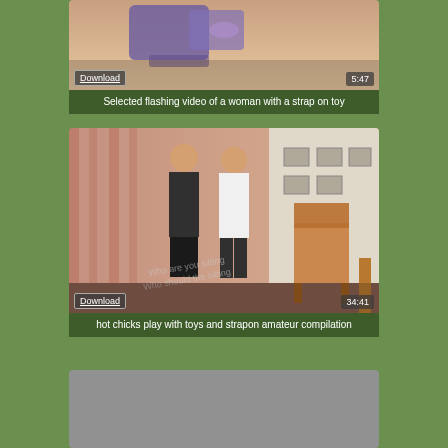[Figure (screenshot): Video thumbnail card 1: close-up image with Download button and 5:47 duration badge]
Selected flashing video of a woman with a strap on toy
[Figure (screenshot): Video thumbnail card 2: two people standing in a room with Download button and 34:41 duration badge]
hot chicks play with toys and strapon amateur compilation
[Figure (screenshot): Video thumbnail card 3: partially visible at bottom of page]